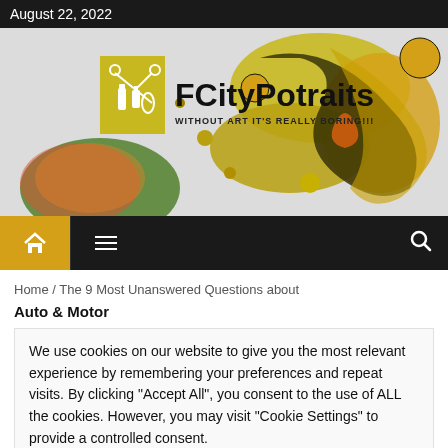August 22, 2022
[Figure (screenshot): FCityPotraits website header with abstract colorful oil art background, yellow logo box with scissors/nailpolish icons, site title FCityPotraits, tagline WITHOUT ART IT'S REALLY BORING!!!]
Home / The 9 Most Unanswered Questions about
Auto & Motor
We use cookies on our website to give you the most relevant experience by remembering your preferences and repeat visits. By clicking "Accept All", you consent to the use of ALL the cookies. However, you may visit "Cookie Settings" to provide a controlled consent.